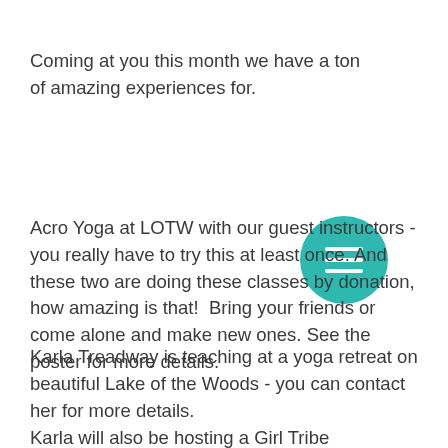Coming at you this month we have a ton of amazing experiences for.
[Figure (illustration): Teal circular menu button icon with three horizontal white lines (hamburger menu icon)]
Acro Yoga at LOTW with our guest instructors - you really have to try this at least once. And these two are doing these classes by donation, how amazing is that!  Bring your friends or come alone and make new ones. See the poster for more details.
Karla Treadway is teaching at a yoga retreat on beautiful Lake of the Woods - you can contact her for more details.
Karla will also be hosting a Girl Tribe